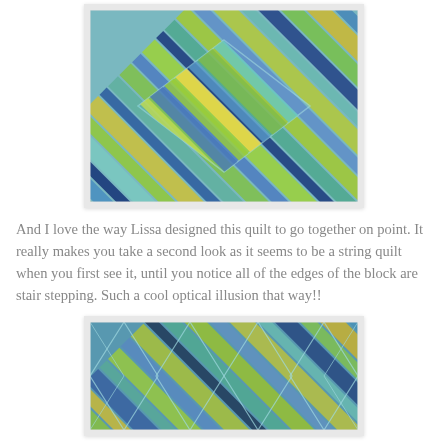[Figure (photo): Close-up photograph of a colorful quilt with diagonal strips in teal, blue, green, yellow, and navy colors arranged in a point/on-point pattern creating an optical illusion of string quilt blocks with stair-stepping edges.]
And I love the way Lissa designed this quilt to go together on point.  It really makes you take a second look as it seems to be a string quilt when you first see it, until you notice all of the edges of the block are stair stepping.    Such a cool optical illusion that way!!
[Figure (photo): Full view photograph of the completed quilt showing the on-point block arrangement with colorful diagonal strips in teal, blue, green, yellow and navy, forming diamond shapes across the entire quilt.]